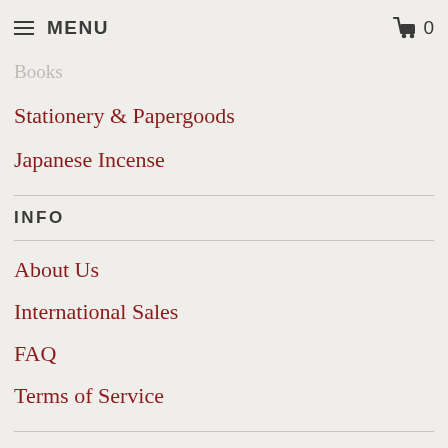MENU | cart 0
Tablewares & Decor (faded/partial)
Books (faded/partial)
Stationery & Papergoods
Japanese Incense
INFO
About Us
International Sales
FAQ
Terms of Service
ABOUT ZENBU HOME
If you share our love of Japanese aesthetic and